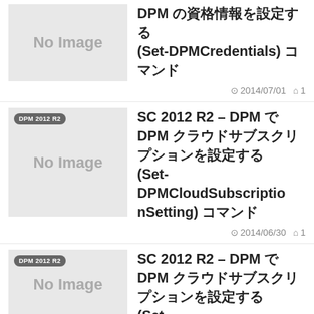[Figure (other): No Image placeholder thumbnail for first article]
DPM の資格情報を設定する (Set-DPMCredentials) コマンド
2014/07/01  1
[Figure (other): No Image placeholder thumbnail for second article, tagged DPM 2012 R2]
SC 2012 R2 – DPM で DPM クラウドサブスクリプションを設定する (Set-DPMCloudSubscriptionSetting) コマンド
2014/06/30  1
[Figure (other): No Image placeholder thumbnail for third article, tagged DPM 2012 R2]
SC 2012 R2 – DPM で DPM クラウドサブスクリプションを設定する (Set-